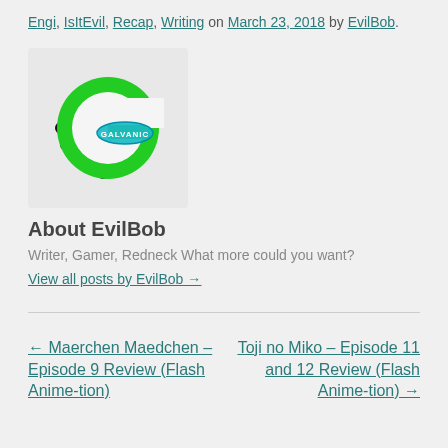Engi, IsItEvil, Recap, Writing on March 23, 2018 by EvilBob.
[Figure (logo): Galvanic logo: green letter G shape with black splatter on white rounded square background, with 'GALVANIC' text on a cyan oval badge.]
About EvilBob
Writer, Gamer, Redneck What more could you want?
View all posts by EvilBob →
← Maerchen Maedchen – Episode 9 Review (Flash Anime-tion)
Toji no Miko – Episode 11 and 12 Review (Flash Anime-tion) →